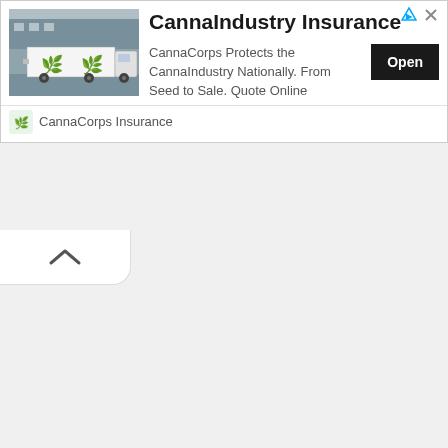[Figure (photo): A white delivery truck with green cannabis leaf graphics on the side, parked in front of a building]
CannaIndustry Insurance
CannaCorps Protects the CannaIndustry Nationally. From Seed to Sale. Quote Online
[Figure (logo): CannaCorps Insurance small logo icon]
CannaCorps Insurance